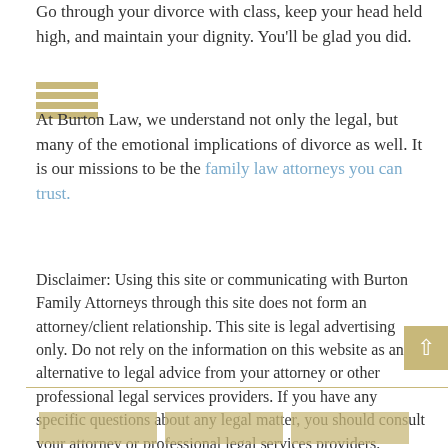Go through your divorce with class, keep your head held high, and maintain your dignity. You'll be glad you did.
[Figure (logo): Burton Law logo consisting of horizontal golden/tan bars]
At Burton Law, we understand not only the legal, but many of the emotional implications of divorce as well. It is our missions to be the family law attorneys you can trust.
Disclaimer: Using this site or communicating with Burton Family Attorneys through this site does not form an attorney/client relationship. This site is legal advertising only. Do not rely on the information on this website as an alternative to legal advice from your attorney or other professional legal services providers. If you have any specific questions about any legal matter, you should consult your attorney or professional legal services providers.
Family Law, News
dignity, divorce, during, maintaining